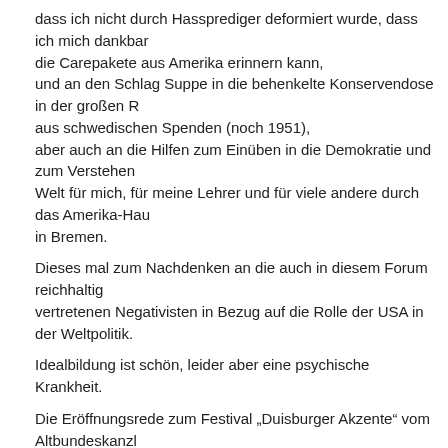dass ich nicht durch Hassprediger deformiert wurde, dass ich mich dankbar an die Carepakete aus Amerika erinnern kann,
und an den Schlag Suppe in die behenkelte Konservendose in der großen R... aus schwedischen Spenden (noch 1951),
aber auch an die Hilfen zum Einüben in die Demokratie und zum Verstehen... Welt für mich, für meine Lehrer und für viele andere durch das Amerika-Hau... in Bremen.
Dieses mal zum Nachdenken an die auch in diesem Forum reichhaltig vertretenen Negativisten in Bezug auf die Rolle der USA in der Weltpolitik.
Idealbildung ist schön, leider aber eine psychische Krankheit.
Die Eröffnungsrede zum Festival „Duisburger Akzente" vom Altbundeskanzl... Helmut Schmidt als Freund Amerikas gab es im Deutschlandfunk am 25.Ap... 17:05
Nachzuhören unter Audio on demand http://www.dradio.de/aod/player/index...
Posted by: Helmut Schmidt | May 07, 2004 at 04:38 PM
Want to get back at the German government?
I understand that the California Highway Patrol has put in an order for 400 B... police motorcycles. 400 x $15,000 per motorcycle = six million dollar contr...